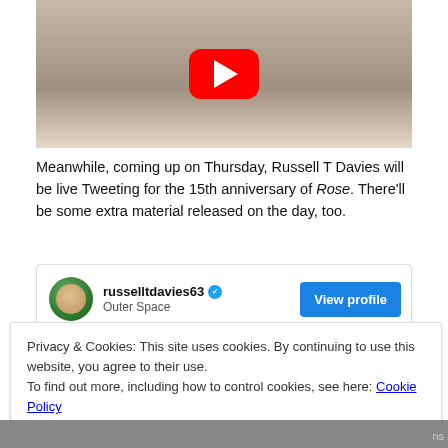[Figure (screenshot): YouTube video thumbnail showing a cartoon/stuffed animal character in a black shirt with a YouTube play button overlay]
Meanwhile, coming up on Thursday, Russell T Davies will be live Tweeting for the 15th anniversary of Rose. There'll be some extra material released on the day, too.
[Figure (screenshot): Twitter/social media profile card for russelltdavies63, verified account, location: Outer Space, with a View profile button]
Privacy & Cookies: This site uses cookies. By continuing to use this website, you agree to their use.
To find out more, including how to control cookies, see here: Cookie Policy
Close and accept